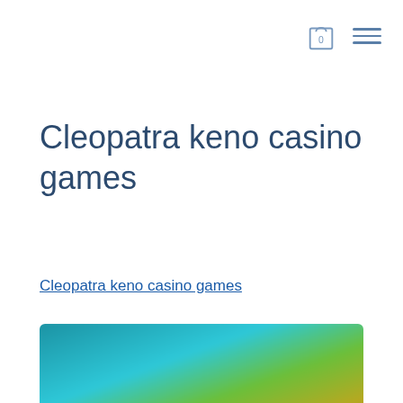Shopping cart 0, Menu
Cleopatra keno casino games
Cleopatra keno casino games
[Figure (screenshot): Blurred screenshot of a casino game interface showing colorful animated characters and game lobby UI elements, with a floating blue chat/more options button in the bottom right.]